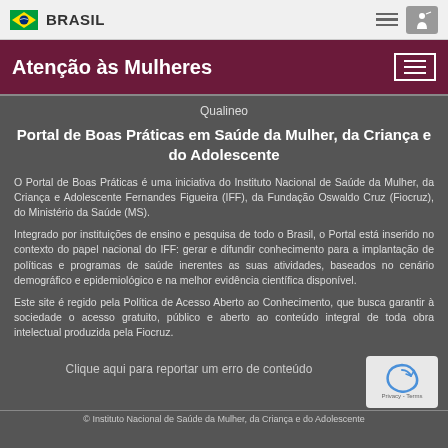BRASIL
Atenção às Mulheres
Qualineo
Portal de Boas Práticas em Saúde da Mulher, da Criança e do Adolescente
O Portal de Boas Práticas é uma iniciativa do Instituto Nacional de Saúde da Mulher, da Criança e Adolescente Fernandes Figueira (IFF), da Fundação Oswaldo Cruz (Fiocruz), do Ministério da Saúde (MS).
Integrado por instituições de ensino e pesquisa de todo o Brasil, o Portal está inserido no contexto do papel nacional do IFF: gerar e difundir conhecimento para a implantação de políticas e programas de saúde inerentes as suas atividades, baseados no cenário demográfico e epidemiológico e na melhor evidência científica disponível.
Este site é regido pela Política de Acesso Aberto ao Conhecimento, que busca garantir à sociedade o acesso gratuito, público e aberto ao conteúdo integral de toda obra intelectual produzida pela Fiocruz.
Clique aqui para reportar um erro de conteúdo
© Instituto Nacional de Saúde da Mulher, da Criança e do Adolescente